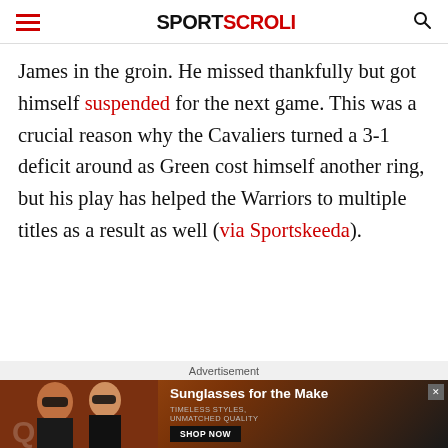SPORTSCROLL
James in the groin. He missed thankfully but got himself suspended for the next game. This was a crucial reason why the Cavaliers turned a 3-1 deficit around as Green cost himself another ring, but his play has helped the Warriors to multiple titles as a result as well (via Sportskeeda).
Advertisement
[Figure (photo): Advertisement banner showing two women wearing sunglasses with text 'Sunglasses for the Make' and 'TIMELESS STYLES, UNMATCHED QUALITY' with a SHOP NOW button]